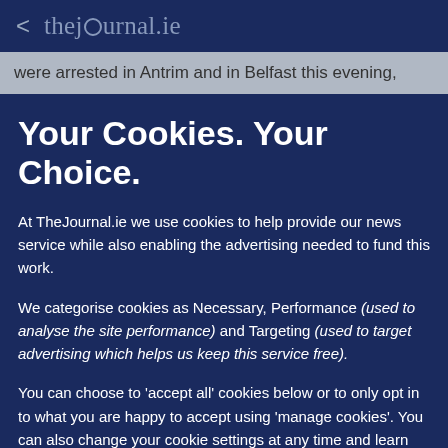< thejournal.ie
were arrested in Antrim and in Belfast this evening,
Your Cookies. Your Choice.
At TheJournal.ie we use cookies to help provide our news service while also enabling the advertising needed to fund this work.
We categorise cookies as Necessary, Performance (used to analyse the site performance) and Targeting (used to target advertising which helps us keep this service free).
You can choose to 'accept all' cookies below or to only opt in to what you are happy to accept using 'manage cookies'. You can also change your cookie settings at any time and learn more about how we use cookies in our Privacy Policy.